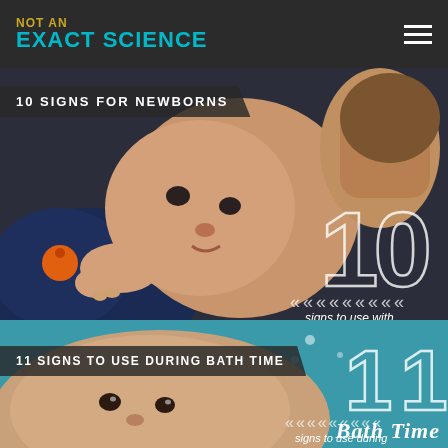NOT AN EXACT SCIENCE
[Figure (photo): Close-up photo of a newborn baby in dark blue outfit with orange graphic, being held by an adult's hands. Large outline '10' overlaid in lower right with chevron decoration and text 'signs to use with'.]
10 SIGNS FOR NEWBORNS
[Figure (photo): Close-up photo of a baby's face during bath time on teal/aqua background. Large outline '11' overlaid with chevron decoration and text 'signs to use during Bath Time'.]
11 SIGNS TO USE DURING BATH TIME